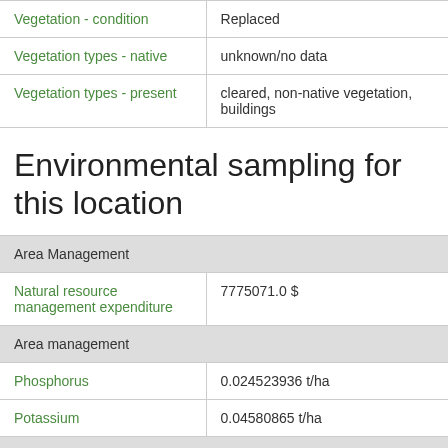| Property | Value |
| --- | --- |
| Vegetation - condition | Replaced |
| Vegetation types - native | unknown/no data |
| Vegetation types - present | cleared, non-native vegetation, buildings |
Environmental sampling for this location
| Property | Value |
| --- | --- |
| Area Management |  |
| Natural resource management expenditure | 7775071.0 $ |
| Area management |  |
| Phosphorus | 0.024523936 t/ha |
| Potassium | 0.04580865 t/ha |
| Biodiversity |  |
| Acacia – Miller et al 2012 - 0.5 degree | 0.892 |